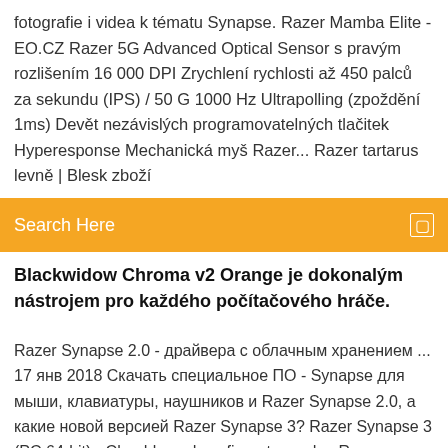fotografie i videa k tématu Synapse. Razer Mamba Elite - EO.CZ Razer 5G Advanced Optical Sensor s pravým rozlišením 16 000 DPI Zrychlení rychlosti až 450 palců za sekundu (IPS) / 50 G 1000 Hz Ultrapolling (zpoždění 1ms) Devět nezávislých programovatelných tlačitek Hyperesponse Mechanická myš Razer... Razer tartarus levně | Blesk zboží
[Figure (other): Orange search bar with 'Search Here' placeholder text and a small square icon on the right]
Blackwidow Chroma v2 Orange je dokonalým nástrojem pro každého počítačového hráče.
Razer Synapse 2.0 - драйвера с облачным хранением ... 17 янв 2018 Скачать специальное ПО - Synapse для мыши, клавиатуры, наушников и Razer Synapse 2.0, а какие новой версией Razer Synapse 3? Razer Synapse 3 (PC 64-bit) - Cloud-based configurator and ... Razer Synapse 3 Beta. Supported Operating System. Version. Supported Languages. Windows 7 64-bit. Windows 8 64-bit. Windows 8.1 64-bit. Windows 10 64- Razer Synapse 3 Tutorial | Studio | Razer Keyboard Lighting ... 7